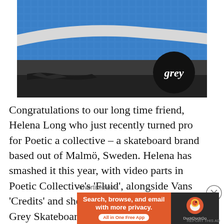[Figure (photo): Close-up photo of a blue tiled skate ramp or pool surface with a white stripe, dark cracked ground at the bottom, and a circular black 'grey' logo sticker in the lower right.]
Congratulations to our long time friend, Helena Long who just recently turned pro for Poetic a collective – a skateboard brand based out of Malmö, Sweden. Helena has smashed it this year, with video parts in Poetic Collective's 'Fluid', alongside Vans 'Credits' and she also made Front cover for Grey Skateboard Magazine, the first UK
Advertisements
[Figure (other): DuckDuckGo advertisement banner: orange left panel reading 'Search, browse, and email with more privacy. All in One Free App', dark right panel with DuckDuckGo duck logo and 'DuckDuckGo' text.]